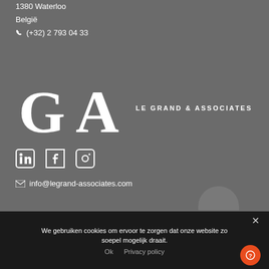1380 Waterloo
België
☎ (+32) 2 793 04 33
[Figure (logo): GA Le Grand & Associates logo — large white 'GA' monogram with stylized serif letters, followed by text 'LE GRAND & ASSOCIATES' in bold white capitals]
[Figure (infographic): Three white social media icons in a row: LinkedIn, Facebook, Instagram]
✉ info@legrand-associates.com
We gebruiken cookies om ervoor te zorgen dat onze website zo soepel mogelijk draait.
Ok   Privacy policy